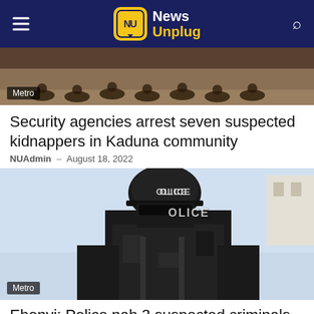News Unplug
[Figure (photo): Group of people crouching on the ground, arrested suspects]
Metro
Security agencies arrest seven suspected kidnappers in Kaduna community
NUAdmin – August 18, 2022
[Figure (photo): A police officer in tactical gear with helmet labeled POLICE and face mask, against a light blue sky background]
Metro
Ebonyi: Police nab 3 suspected criminals in